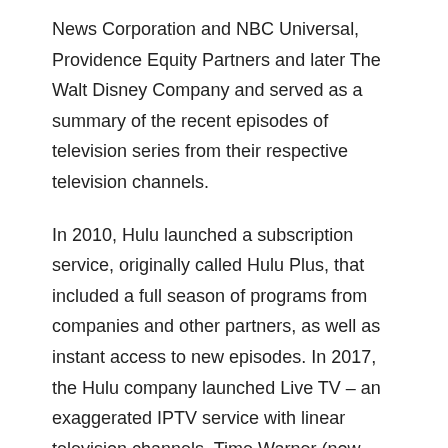News Corporation and NBC Universal, Providence Equity Partners and later The Walt Disney Company and served as a summary of the recent episodes of television series from their respective television channels.
In 2010, Hulu launched a subscription service, originally called Hulu Plus, that included a full season of programs from companies and other partners, as well as instant access to new episodes. In 2017, the Hulu company launched Live TV – an exaggerated IPTV service with linear television channels. Time Warner (now WarnerMedia) was later involved in the service. As of the first quarter of 2021, Hulu had 30.4 million subscribers.
Hulu Plus is currently one of the best streaming platforms in the world. However, it is not the only transmitter on earth. Netflix and Amazon Prime Video have two more streaming platforms that get a lot of attention due to the high quality of the content they produce regularly.Below are the key features of the free Hulu 2021